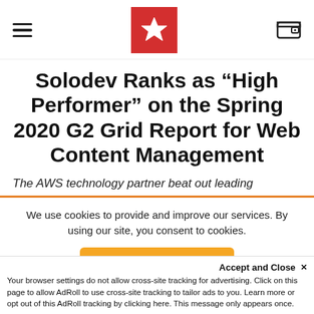[hamburger menu] [Solodev logo] [wallet icon]
Solodev Ranks as “High Performer” on the Spring 2020 G2 Grid Report for Web Content Management
The AWS technology partner beat out leading
We use cookies to provide and improve our services. By using our site, you consent to cookies.
Accept
Accept and Close ×
Your browser settings do not allow cross-site tracking for advertising. Click on this page to allow AdRoll to use cross-site tracking to tailor ads to you. Learn more or opt out of this AdRoll tracking by clicking here. This message only appears once.